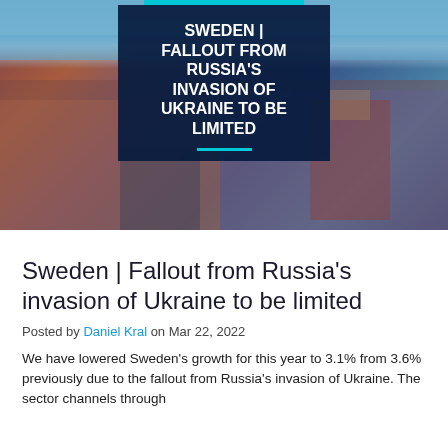[Figure (photo): Aerial view of a European city (Sweden/Stockholm) with colorful buildings and a clock tower, overlaid with a dark navy blue box containing bold white text headline]
Sweden | Fallout from Russia's invasion of Ukraine to be limited
Posted by Daniel Kral on Mar 22, 2022
We have lowered Sweden's growth for this year to 3.1% from 3.6% previously due to the fallout from Russia's invasion of Ukraine. The sector channels through